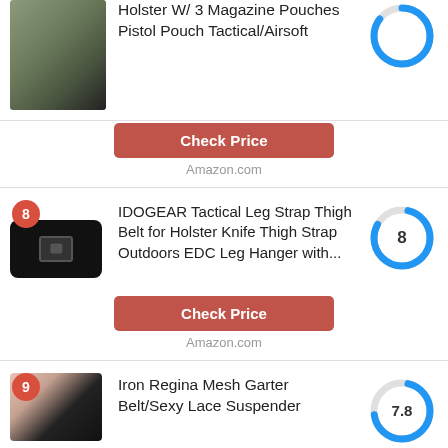[Figure (photo): Tactical holster with magazine pouches, partial view at top]
Holster W/ 3 Magazine Pouches Pistol Pouch Tactical/Airsoft
[Figure (donut-chart): Partial donut chart at top, score partially cut off]
Check Price
Amazon.com
[Figure (photo): Black tactical leg strap/belt with buckle, item #8]
IDOGEAR Tactical Leg Strap Thigh Belt for Holster Knife Thigh Strap Outdoors EDC Leg Hanger with...
[Figure (donut-chart): Score 8]
Check Price
Amazon.com
[Figure (photo): Iron Regina Mesh Garter Belt/Sexy Lace Suspender product image, item #9]
Iron Regina Mesh Garter Belt/Sexy Lace Suspender
[Figure (donut-chart): Score 7.8]